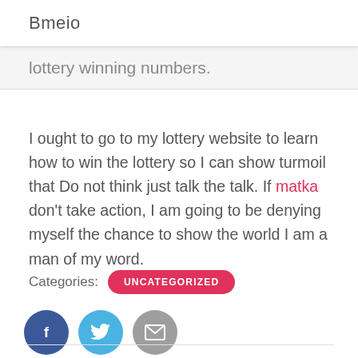Bmeio
lottery winning numbers.
I ought to go to my lottery website to learn how to win the lottery so I can show turmoil that Do not think just talk the talk. If matka don't take action, I am going to be denying myself the chance to show the world I am a man of my word.
Categories: UNCATEGORIZED
[Figure (infographic): Three social sharing icon circles: Facebook (dark blue, f), Twitter (light blue, bird), Email (grey, envelope)]